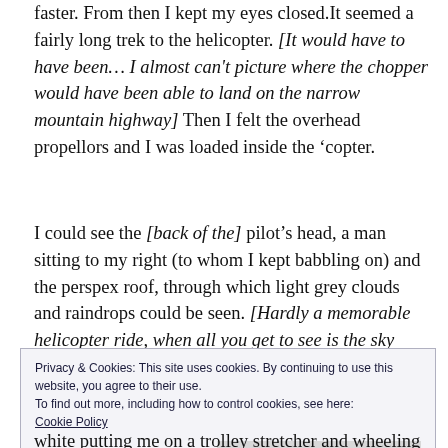faster. From then I kept my eyes closed.It seemed a fairly long trek to the helicopter. [It would have to have been… I almost can't picture where the chopper would have been able to land on the narrow mountain highway] Then I felt the overhead propellors and I was loaded inside the 'copter.
I could see the [back of the] pilot's head, a man sitting to my right (to whom I kept babbling on) and the perspex roof, through which light grey clouds and raindrops could be seen. [Hardly a memorable helicopter ride, when all you get to see is the sky above you.]
Privacy & Cookies: This site uses cookies. By continuing to use this website, you agree to their use.
To find out more, including how to control cookies, see here:
Cookie Policy
white putting me on a trolley stretcher and wheeling me